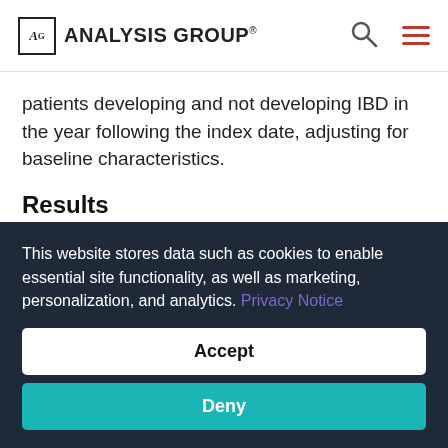AG ANALYSIS GROUP
patients developing and not developing IBD in the year following the index date, adjusting for baseline characteristics.
Results
A total of 537,450 patients with CIDs (mean age = 54.0 years; 63.1% female) were included in the study. The 1-
This website stores data such as cookies to enable essential site functionality, as well as marketing, personalization, and analytics. Privacy Notice
Accept
Deny